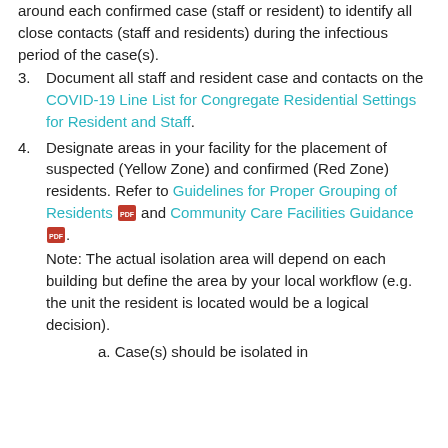around each confirmed case (staff or resident) to identify all close contacts (staff and residents) during the infectious period of the case(s).
3. Document all staff and resident case and contacts on the COVID-19 Line List for Congregate Residential Settings for Resident and Staff.
4. Designate areas in your facility for the placement of suspected (Yellow Zone) and confirmed (Red Zone) residents. Refer to Guidelines for Proper Grouping of Residents [PDF] and Community Care Facilities Guidance [PDF]. Note: The actual isolation area will depend on each building but define the area by your local workflow (e.g. the unit the resident is located would be a logical decision).
a. Case(s) should be isolated in